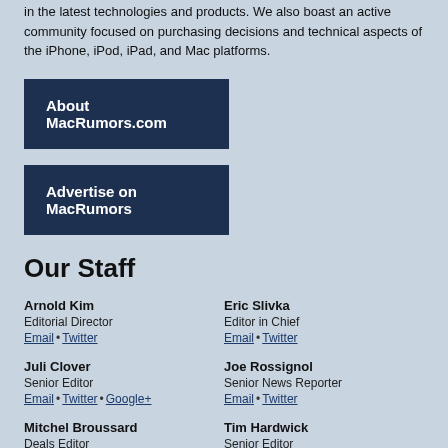in the latest technologies and products. We also boast an active community focused on purchasing decisions and technical aspects of the iPhone, iPod, iPad, and Mac platforms.
About MacRumors.com
Advertise on MacRumors
Our Staff
Arnold Kim
Editorial Director
Email • Twitter
Eric Slivka
Editor in Chief
Email • Twitter
Juli Clover
Senior Editor
Email • Twitter • Google+
Joe Rossignol
Senior News Reporter
Email • Twitter
Mitchel Broussard
Deals Editor
Email • Twitter
Tim Hardwick
Senior Editor
Email • Twitter
Hartley Charlton
Editor
Email • Twitter
Sami Fathi
Editor
Email • Twitter